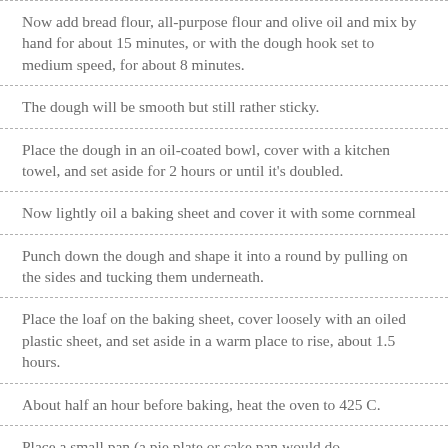Now add bread flour, all-purpose flour and olive oil and mix by hand for about 15 minutes, or with the dough hook set to medium speed, for about 8 minutes.
The dough will be smooth but still rather sticky.
Place the dough in an oil-coated bowl, cover with a kitchen towel, and set aside for 2 hours or until it's doubled.
Now lightly oil a baking sheet and cover it with some cornmeal
Punch down the dough and shape it into a round by pulling on the sides and tucking them underneath.
Place the loaf on the baking sheet, cover loosely with an oiled plastic sheet, and set aside in a warm place to rise, about 1.5 hours.
About half an hour before baking, heat the oven to 425 C.
Place a small pan (a pie plate or cake pan would do